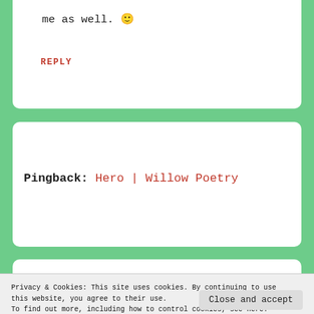me as well. 🙂
REPLY
Pingback: Hero | Willow Poetry
Privacy & Cookies: This site uses cookies. By continuing to use this website, you agree to their use.
To find out more, including how to control cookies, see here:
Cookie Policy
Close and accept